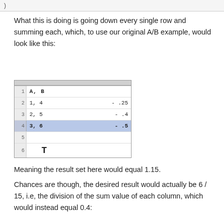)
What this is doing is going down every single row and summing each, which, to use our original A/B example, would look like this:
[Figure (screenshot): Spreadsheet screenshot showing rows 1-6 with A,B in row 1; 1,4 = .25 in row 2; 2,5 = .4 in row 3; 3,6 = .5 in row 4 (highlighted); row 5 empty; row 6 showing cursor T symbol]
Meaning the result set here would equal 1.15.
Chances are though, the desired result would actually be 6 / 15, i.e, the division of the sum value of each column, which would instead equal 0.4:
[Figure (screenshot): Spreadsheet screenshot showing rows 1-6 with A,B in row 1; 1,4 in row 2; 2,5 in row 3; 3,6 in row 4; 6,15 highlighted in row 5; row 6 with cursor]